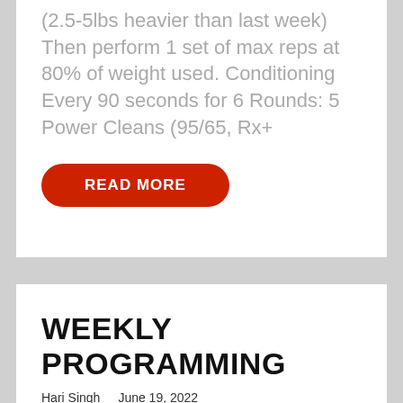(2.5-5lbs heavier than last week) Then perform 1 set of max reps at 80% of weight used. Conditioning Every 90 seconds for 6 Rounds: 5 Power Cleans (95/65, Rx+
READ MORE
WEEKLY PROGRAMMING
Hari Singh   June 19, 2022
Week # 3 of 6 WEEK 3 Monday 6/20/2022 Strength Back Squat 4 sets of 7, across (2.5-5lbs heavier than last week) Then perform 1 set of max reps at 80% of weight used. Conditioning For Time: 50 Calorie Row 50 Thrusters (95/65, Rx+ 115/75)
READ MORE